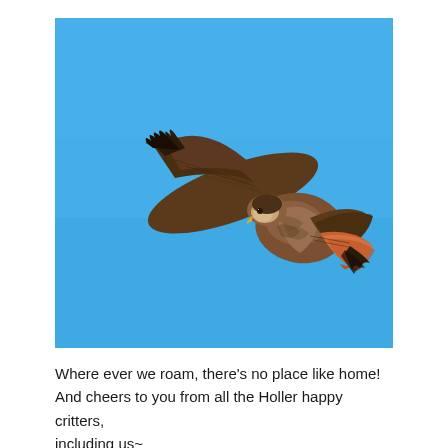[Figure (photo): A red-tailed hawk soaring in flight against a bright blue sky, wings spread wide, viewed from below. The hawk has dark brown wings, a mottled brown underside, white head area, and a distinctive rusty-red tail fanned out to the right.]
Where ever we roam, there's no place like home!
And cheers to you from all the Holler happy critters, including us~